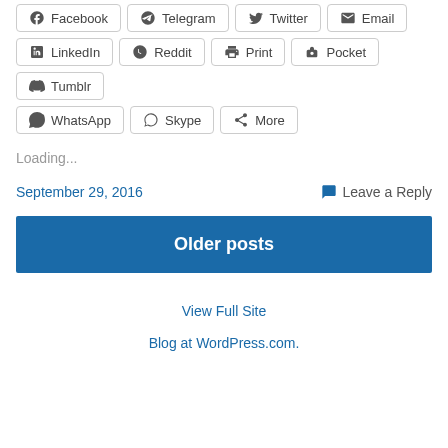Facebook
Telegram
Twitter
Email
LinkedIn
Reddit
Print
Pocket
Tumblr
WhatsApp
Skype
More
Loading...
September 29, 2016
Leave a Reply
Older posts
View Full Site
Blog at WordPress.com.